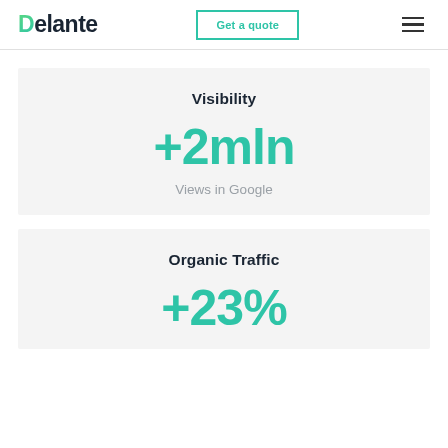Delante | Get a quote
Visibility
+2mln
Views in Google
Organic Traffic
+23%